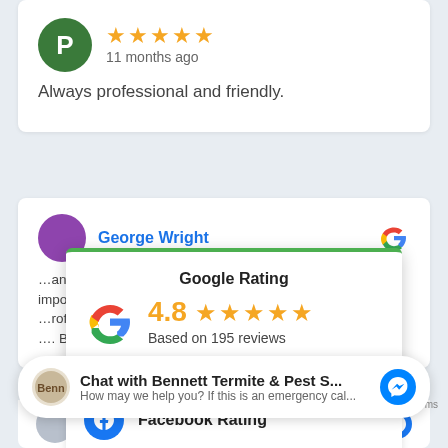[Figure (screenshot): Reviewer avatar with letter P on green circle background]
★★★★★ 11 months ago
Always professional and friendly.
George Wright
[Figure (logo): Google G logo]
Google Rating
4.8 ★★★★★
Based on 195 reviews
Facebook Rating
Chat with Bennett Termite & Pest S...
How may we help you? If this is an emergency cal...
Dean Dubiny